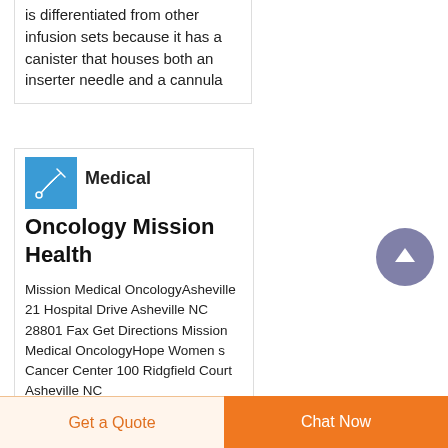is differentiated from other infusion sets because it has a canister that houses both an inserter needle and a cannula
[Figure (logo): Blue square logo with a cannula/infusion set icon in white]
Medical Oncology Mission Health
Mission Medical OncologyAsheville 21 Hospital Drive Asheville NC 28801 Fax Get Directions Mission Medical OncologyHope Women s Cancer Center 100 Ridgfield Court Asheville NC
Get a Quote
Chat Now